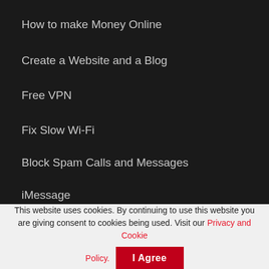How to make Money Online
Create a Website and a Blog
Free VPN
Fix Slow Wi-Fi
Block Spam Calls and Messages
iMessage
Policies
Privacy Policy
This website uses cookies. By continuing to use this website you are giving consent to cookies being used. Visit our Privacy and Cookie Policy.
I Agree